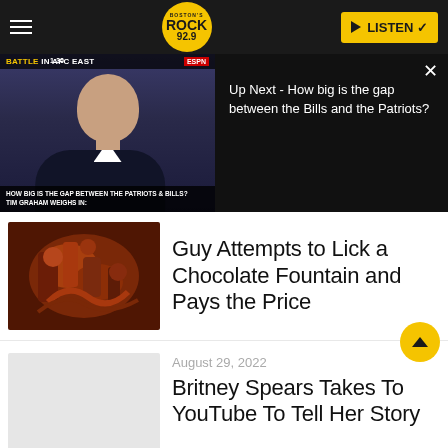Rock 92.9 — LISTEN
[Figure (screenshot): Video player showing a news segment about 'Battle in AFC East' with a man in a suit on camera. Bottom caption reads: HOW BIG IS THE GAP BETWEEN THE PATRIOTS & BILLS? TIM GRAHAM WEIGHS IN:]
Up Next - How big is the gap between the Bills and the Patriots?
[Figure (photo): Close-up photo of a chocolate fountain mechanism showing brown/reddish mechanical parts]
Guy Attempts to Lick a Chocolate Fountain and Pays the Price
August 29, 2022
[Figure (photo): Light gray placeholder image for Britney Spears article]
Britney Spears Takes To YouTube To Tell Her Story